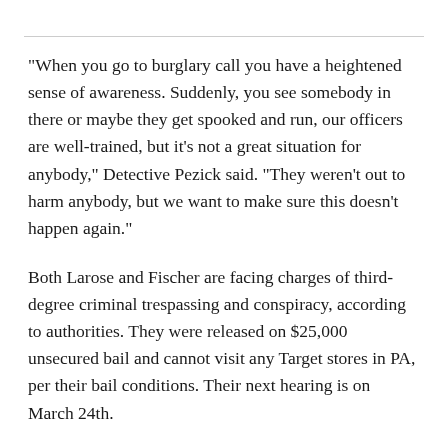"When you go to burglary call you have a heightened sense of awareness. Suddenly, you see somebody in there or maybe they get spooked and run, our officers are well-trained, but it’s not a great situation for anybody," Detective Pezick said. "They weren’t out to harm anybody, but we want to make sure this doesn’t happen again."
Both Larose and Fischer are facing charges of third-degree criminal trespassing and conspiracy, according to authorities. They were released on $25,000 unsecured bail and cannot visit any Target stores in PA, per their bail conditions. Their next hearing is on March 24th.